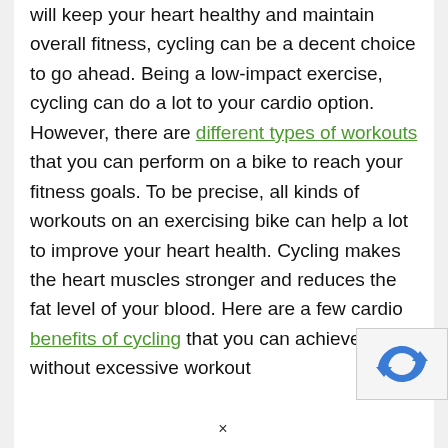will keep your heart healthy and maintain overall fitness, cycling can be a decent choice to go ahead. Being a low-impact exercise, cycling can do a lot to your cardio option. However, there are different types of workouts that you can perform on a bike to reach your fitness goals. To be precise, all kinds of workouts on an exercising bike can help a lot to improve your heart health. Cycling makes the heart muscles stronger and reduces the fat level of your blood. Here are a few cardio benefits of cycling that you can achieve without excessive workout